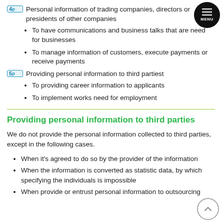4p Personal information of trading companies, directors or presidents of other companies
To have communications and business talks that are needed for businesses
To manage information of customers, execute payments or receive payments
5p Providing personal information to third partiest
To providing career information to applicants
To implement works need for employment
Providing personal information to third parties
We do not provide the personal information collected to third parties, except in the following cases.
When it's agreed to do so by the provider of the information
When the information is converted as statistic data, by which specifying the individuals is impossible
When provide or entrust personal information to outsourcing